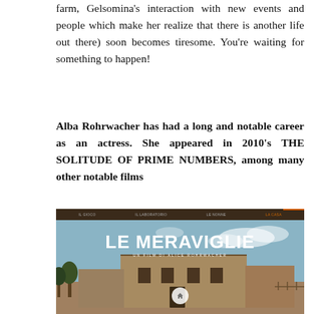farm, Gelsomina's interaction with new events and people which make her realize that there is another life out there) soon becomes tiresome. You're waiting for something to happen!
Alba Rohrwacher has had a long and notable career as an actress. She appeared in 2010's THE SOLITUDE OF PRIME NUMBERS, among many other notable films
[Figure (screenshot): Screenshot of the Le Meraviglie film website showing a dark navigation bar with Italian menu items, and a hero image of an old stone farmhouse in a rural landscape with the title 'LE MERAVIGLIE' in large white text overlaid.]